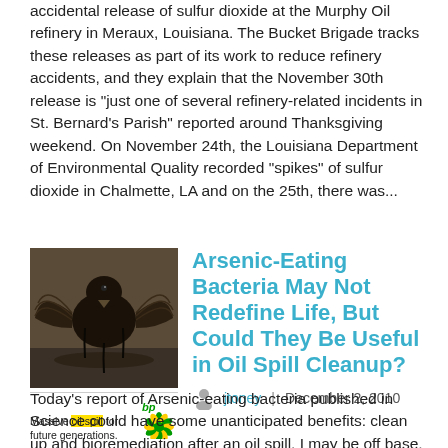accidental release of sulfur dioxide at the Murphy Oil refinery in Meraux, Louisiana. The Bucket Brigade tracks these releases as part of its work to reduce refinery accidents, and they explain that the November 30th release is "just one of several refinery-related incidents in St. Bernard's Parish" reported around Thanksgiving weekend. On November 24th, the Louisiana Department of Environmental Quality recorded "spikes" of sulfur dioxide in Chalmette, LA and on the 25th, there was...
[Figure (photo): A bird covered in oil, wings spread, in water — depicting an oil spill scene]
Massive oil spill for future generations. bp
Arsenic-Eating Bacteria May Not Redefine Life, But Could They Be Useful in Oil Spill Cleanup?
jtoney | December 2, 2010
Today's report of Arsenic-eating bacteria published in Science could have some unanticipated benefits: clean up and bioremediation after an oil spill. I may be off base, but here's my reasoning. Caveat: these newly discovered bacteria may not be